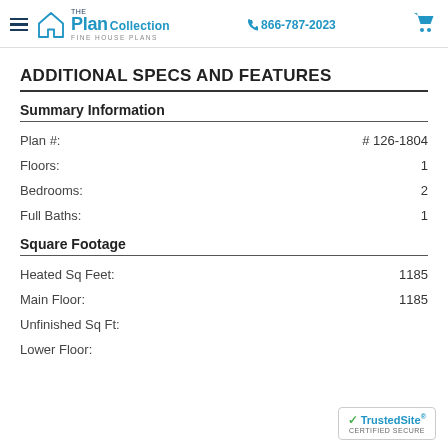The Plan Collection | Fine House Plans | 866-787-2023
ADDITIONAL SPECS AND FEATURES
Summary Information
| Field | Value |
| --- | --- |
| Plan #: | # 126-1804 |
| Floors: | 1 |
| Bedrooms: | 2 |
| Full Baths: | 1 |
Square Footage
| Field | Value |
| --- | --- |
| Heated Sq Feet: | 1185 |
| Main Floor: | 1185 |
| Unfinished Sq Ft: |  |
| Lower Floor: |  |